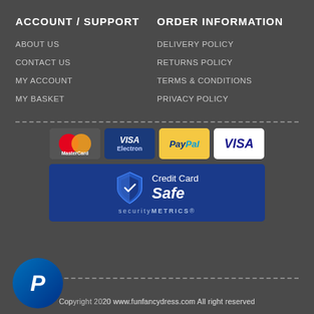ACCOUNT / SUPPORT
ORDER INFORMATION
ABOUT US
DELIVERY POLICY
CONTACT US
RETURNS POLICY
MY ACCOUNT
TERMS & CONDITIONS
MY BASKET
PRIVACY POLICY
[Figure (logo): Payment method logos: MasterCard, VISA Electron, PayPal, VISA]
[Figure (logo): SecurityMetrics Credit Card Safe badge with shield icon]
[Figure (logo): PayPal circular logo button]
Copyright 2020 www.funfancydress.com All right reserved